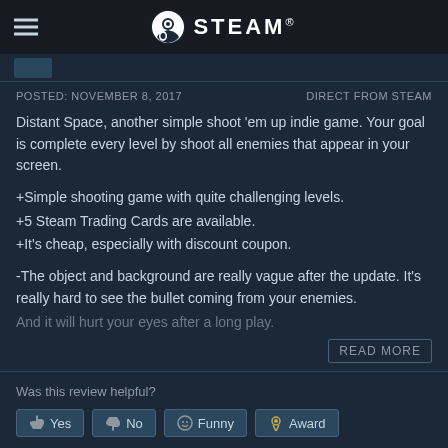STEAM
POSTED: NOVEMBER 8, 2017    DIRECT FROM STEAM
Distant Space, another simple shoot 'em up indie game. Your goal is complete every level by shoot all enemies that appear in your screen.
+Simple shooting game with quite challenging levels.
+5 Steam Trading Cards are available.
+It's cheap, especially with discount coupon.
-The object and background are really vague after the update. It's really hard to see the bullet coming from your enemies. And it will hurt your eyes after a long play.
READ MORE
Was this review helpful?
Yes  No  Funny  Award
23 people found this review helpful